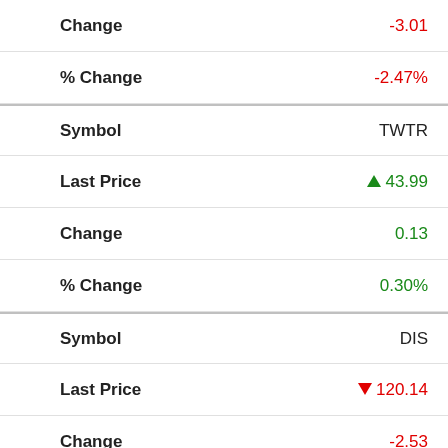| Field | Value |
| --- | --- |
| Change | -3.01 |
| % Change | -2.47% |
| Symbol | TWTR |
| Last Price | ▲ 43.99 |
| Change | 0.13 |
| % Change | 0.30% |
| Symbol | DIS |
| Last Price | ▼ 120.14 |
| Change | -2.53 |
↓ TSCO